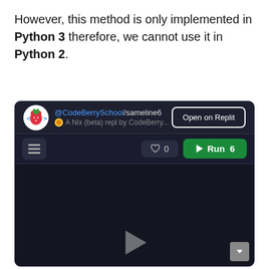However, this method is only implemented in Python 3 therefore, we cannot use it in Python 2.
[Figure (screenshot): Replit embedded code editor showing @CodeBerrySchool/sameline6 repl. Dark themed interface with 'Open on Replit' button, toolbar with run button showing count 6, and a dark code/output area.]